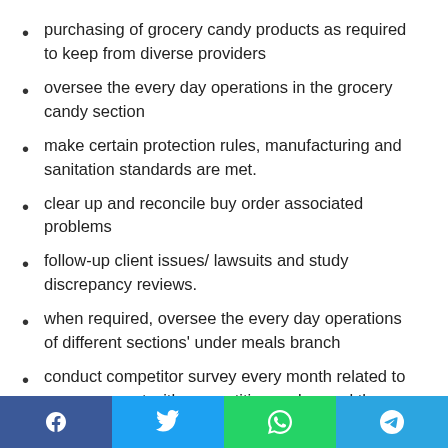purchasing of grocery candy products as required to keep from diverse providers
oversee the every day operations in the grocery candy section
make certain protection rules, manufacturing and sanitation standards are met.
clear up and reconcile buy order associated problems
follow-up client issues/ lawsuits and study discrepancy reviews.
when required, oversee the every day operations of different sections' under meals branch
conduct competitor survey every month related to grocery sweet with competition and record the findings to the department head to decide on higher product range,